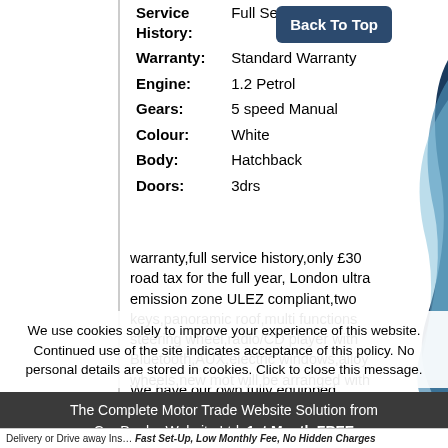| Field | Value |
| --- | --- |
| Service History: | Full Service History |
| Warranty: | Standard Warranty |
| Engine: | 1.2 Petrol |
| Gears: | 5 speed Manual |
| Colour: | White |
| Body: | Hatchback |
| Doors: | 3drs |
warranty,full service history,only £30 road tax for the full year, London ultra emission zone ULEZ compliant,two keys,panoramic roof,multi functions steering wheel,radio/CD player with Bluetooth,AUX,electric windows,alloy wheels,new mot will be arranged with sale
We have our own fully equipped Garage and All
We use cookies solely to improve your experience of this website. Continued use of the site indicates acceptance of this policy. No personal details are stored in cookies. Click to close this message.
The Complete Motor Trade Website Solution from Car Dealer Website Ltd. 1st Month FREE
Delivery or Drive away. Fast Set-Up, Low Monthly Fee, No Hidden Charges